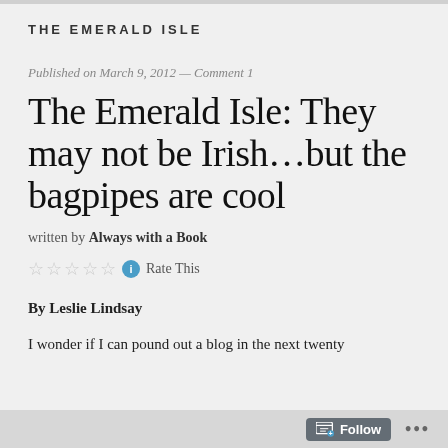THE EMERALD ISLE
Published on March 9, 2012 — Comment 1
The Emerald Isle: They may not be Irish…but the bagpipes are cool
written by Always with a Book
☆☆☆☆☆ ℹ Rate This
By Leslie Lindsay
I wonder if I can pound out a blog in the next twenty